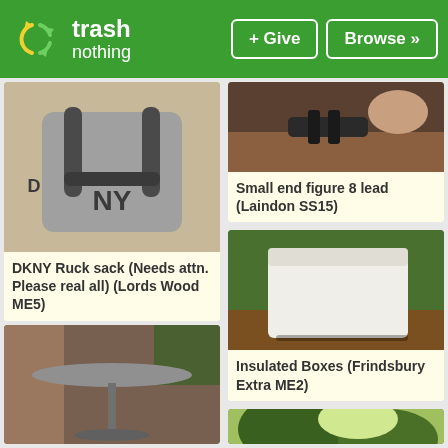trash nothing | + Give | Browse >>
[Figure (photo): DKNY grey rucksack/backpack shown from back, lying on carpet]
DKNY Ruck sack (Needs attn. Please real all) (Lords Wood ME5)
[Figure (photo): Figure 8 electrical lead, top portion visible]
Small end figure 8 lead (Laindon SS15)
[Figure (photo): White polystyrene insulated box on green surface]
Insulated Boxes (Frindsbury Extra ME2)
[Figure (photo): Metal garden table outdoors]
[Figure (photo): Outdoor scene with trees and sky]